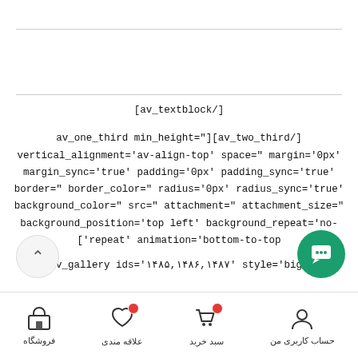[av_textblock/]
av_one_third min_height=""][av_two_third/]
vertical_alignment='av-align-top' space='' margin='0px'
margin_sync='true' padding='0px' padding_sync='true'
border='' border_color='' radius='0px' radius_sync='true'
background_color='' src='' attachment='' attachment_size=''
background_position='top left' background_repeat='no-
['repeat' animation='bottom-to-top
av_gallery ids='۱۴۸۵,۱۴۸۶,۱۴۸۷' style='big_
فروشگاه  علاقه مندی  سبد خرید  حساب کاربری من